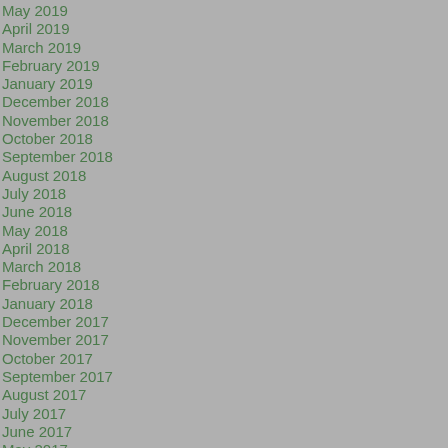May 2019
April 2019
March 2019
February 2019
January 2019
December 2018
November 2018
October 2018
September 2018
August 2018
July 2018
June 2018
May 2018
April 2018
March 2018
February 2018
January 2018
December 2017
November 2017
October 2017
September 2017
August 2017
July 2017
June 2017
May 2017
April 2017
March 2017
February 2017
January 2017
December 2016